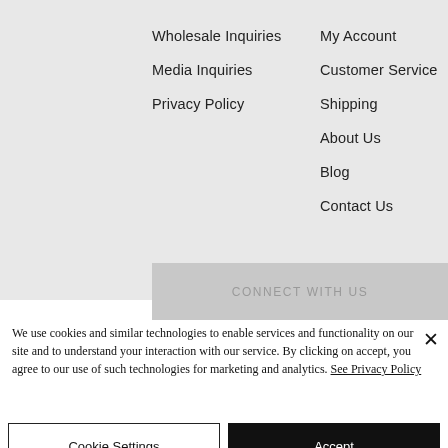Wholesale Inquiries
Media Inquiries
Privacy Policy
My Account
Customer Service
Shipping
About Us
Blog
Contact Us
CONNECT WITH US
We use cookies and similar technologies to enable services and functionality on our site and to understand your interaction with our service. By clicking on accept, you agree to our use of such technologies for marketing and analytics. See Privacy Policy
Cookie Settings
Accept